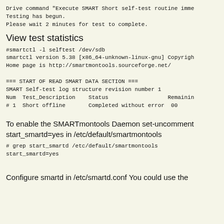Drive command "Execute SMART Short self-test routine imme
Testing has begun.
Please wait 2 minutes for test to complete.
View test statistics
#smartctl -l selftest /dev/sdb
smartctl version 5.38 [x86_64-unknown-linux-gnu] Copyrigh
Home page is http://smartmontools.sourceforge.net/

=== START OF READ SMART DATA SECTION ===
SMART Self-test log structure revision number 1
Num  Test_Description    Status                  Remainin
# 1  Short offline       Completed without error  00
To enable the SMARTmontools Daemon set-uncomment start_smartd=yes in /etc/default/smartmontools
# grep start_smartd /etc/default/smartmontools
start_smartd=yes
Configure smartd in /etc/smartd.conf You could use the